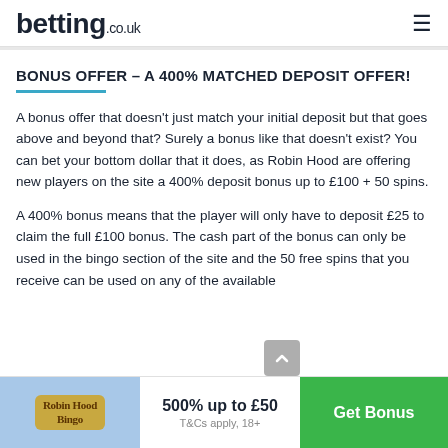betting.co.uk
BONUS OFFER - A 400% MATCHED DEPOSIT OFFER!
A bonus offer that doesn't just match your initial deposit but that goes above and beyond that? Surely a bonus like that doesn't exist? You can bet your bottom dollar that it does, as Robin Hood are offering new players on the site a 400% deposit bonus up to £100 + 50 spins.
A 400% bonus means that the player will only have to deposit £25 to claim the full £100 bonus. The cash part of the bonus can only be used in the bingo section of the site and the 50 free spins that you receive can be used on any of the available
500% up to £50
T&Cs apply, 18+
Get Bonus